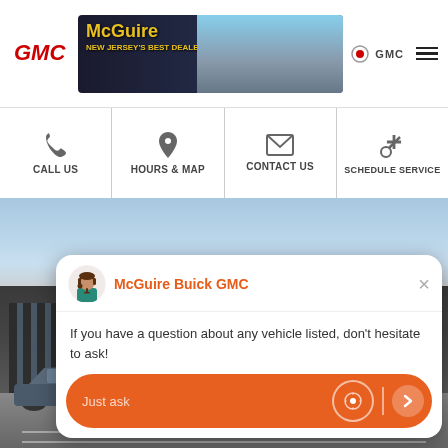[Figure (screenshot): McGuire Buick GMC dealership website header with GMC logo and McGuire dealer banner]
[Figure (infographic): Navigation bar with four options: CALL US, HOURS & MAP, CONTACT US, SCHEDULE SERVICE]
[Figure (photo): Buick GMC dealership building exterior with parking lot and car]
[Figure (screenshot): Chat popup from McGuire Buick GMC asking about vehicle questions with Just ask input field]